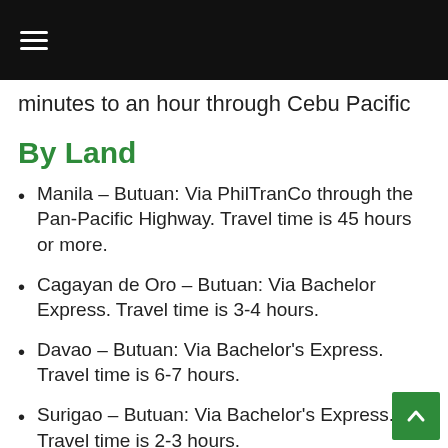≡
minutes to an hour through Cebu Pacific
By Land
Manila – Butuan: Via PhilTranCo through the Pan-Pacific Highway. Travel time is 45 hours or more.
Cagayan de Oro – Butuan: Via Bachelor Express. Travel time is 3-4 hours.
Davao – Butuan: Via Bachelor's Express. Travel time is 6-7 hours.
Surigao – Butuan: Via Bachelor's Express. Travel time is 2-3 hours.